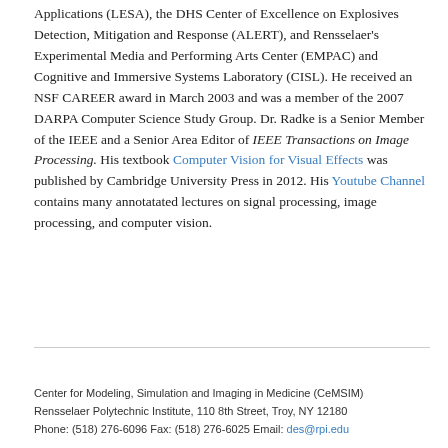Applications (LESA), the DHS Center of Excellence on Explosives Detection, Mitigation and Response (ALERT), and Rensselaer's Experimental Media and Performing Arts Center (EMPAC) and Cognitive and Immersive Systems Laboratory (CISL). He received an NSF CAREER award in March 2003 and was a member of the 2007 DARPA Computer Science Study Group. Dr. Radke is a Senior Member of the IEEE and a Senior Area Editor of IEEE Transactions on Image Processing. His textbook Computer Vision for Visual Effects was published by Cambridge University Press in 2012. His Youtube Channel contains many annotatated lectures on signal processing, image processing, and computer vision.
Center for Modeling, Simulation and Imaging in Medicine (CeMSIM)
Rensselaer Polytechnic Institute, 110 8th Street, Troy, NY 12180
Phone: (518) 276-6096 Fax: (518) 276-6025 Email: des@rpi.edu